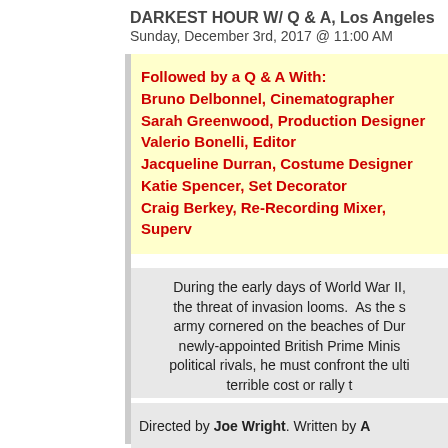DARKEST HOUR W/ Q & A, Los Angeles
Sunday, December 3rd, 2017 @ 11:00 AM
Followed by a Q & A With:
Bruno Delbonnel, Cinematographer
Sarah Greenwood, Production Designer
Valerio Bonelli, Editor
Jacqueline Durran, Costume Designer
Katie Spencer, Set Decorator
Craig Berkey, Re-Recording Mixer, Superv
During the early days of World War II, the threat of invasion looms. As the army cornered on the beaches of Dunkirk, newly-appointed British Prime Minister political rivals, he must confront the ultimate terrible cost or rally t
Directed by Joe Wright. Written by A